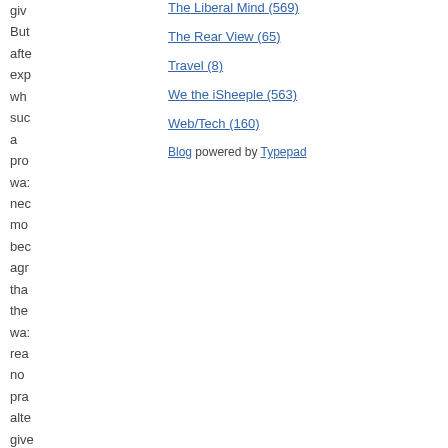give But afte exp wh suc a pro was nec mo beg agr tha the was rea no pra alte give the rap
The Liberal Mind (569)
The Rear View (65)
Travel (8)
We the iSheeple (563)
Web/Tech (160)
Blog powered by Typepad